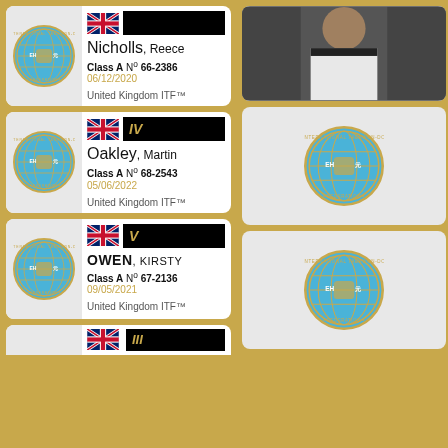[Figure (other): Membership card for Nicholls, Reece. Class A No 66-2386 06/12/2020. United Kingdom ITF. Shows ITF logo and UK flag. No rank numeral visible (cut off).]
[Figure (photo): Photo of instructor in white dobok (taekwondo uniform), partially visible on right side.]
[Figure (other): Membership card for Oakley, Martin. Class A No 68-2543 05/06/2022. United Kingdom ITF. Rank IV shown on black bar with UK flag.]
[Figure (other): Partially visible ITF logo card on right side, second row.]
[Figure (other): Membership card for OWEN, KIRSTY. Class A No 67-2136 09/05/2021. United Kingdom ITF. Rank V shown on black bar with UK flag.]
[Figure (other): Partially visible ITF logo card on right side, third row.]
[Figure (other): Partially visible bottom card with UK flag and rank III on black bar.]